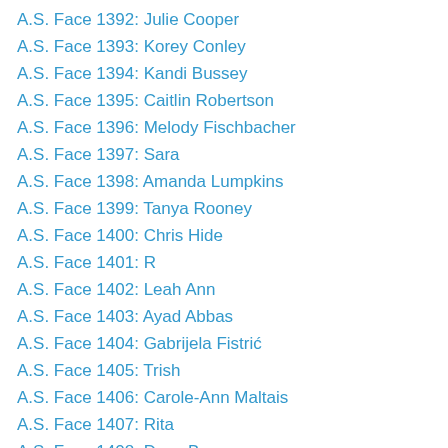A.S. Face 1392: Julie Cooper
A.S. Face 1393: Korey Conley
A.S. Face 1394: Kandi Bussey
A.S. Face 1395: Caitlin Robertson
A.S. Face 1396: Melody Fischbacher
A.S. Face 1397: Sara
A.S. Face 1398: Amanda Lumpkins
A.S. Face 1399: Tanya Rooney
A.S. Face 1400: Chris Hide
A.S. Face 1401: R
A.S. Face 1402: Leah Ann
A.S. Face 1403: Ayad Abbas
A.S. Face 1404: Gabrijela Fistrić
A.S. Face 1405: Trish
A.S. Face 1406: Carole-Ann Maltais
A.S. Face 1407: Rita
A.S. Face 1408: Dave Bown
A.S. Face 1409: Kristin
A.S. Face 1410: Christina Ryland
A.S. Face 1411: Carrie Daniels